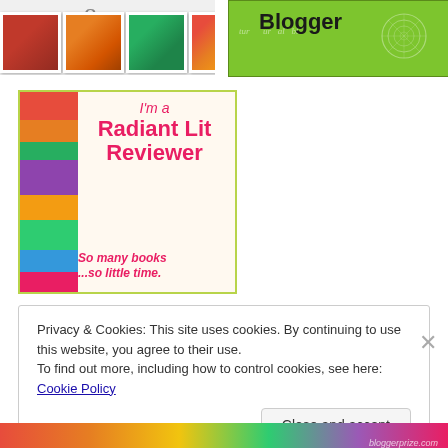[Figure (photo): Photo collage with ampersand symbol on left, and Blogger badge on right (green background with handwritten 'Blogger' text and spiral design)]
[Figure (illustration): Radiant Lit Reviewer badge showing colorful book spines stacked on left and text 'I'm a Radiant Lit Reviewer So many books ...so little time.' on pink/white background with yellow-green border]
Privacy & Cookies: This site uses cookies. By continuing to use this website, you agree to their use.
To find out more, including how to control cookies, see here: Cookie Policy
Close and accept
[Figure (illustration): Bottom colorful banner strip (partially visible) with watermark text]